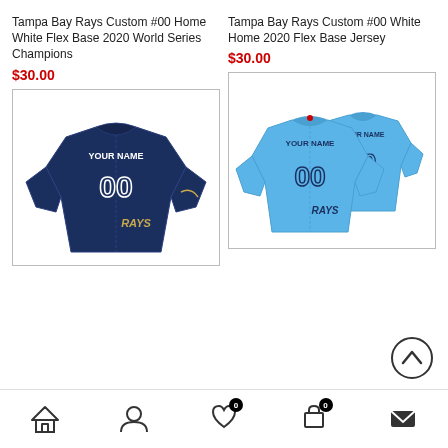Tampa Bay Rays Custom #00 Home White Flex Base 2020 World Series Champions
$30.00
Tampa Bay Rays Custom #00 White Home 2020 Flex Base Jersey
$30.00
[Figure (photo): Navy blue Tampa Bay Rays custom jersey with YOUR NAME and 00 on front and RAYS logo]
[Figure (photo): Light blue Tampa Bay Rays custom jersey (front and back) with YOUR NAME and 00 and RAYS logo]